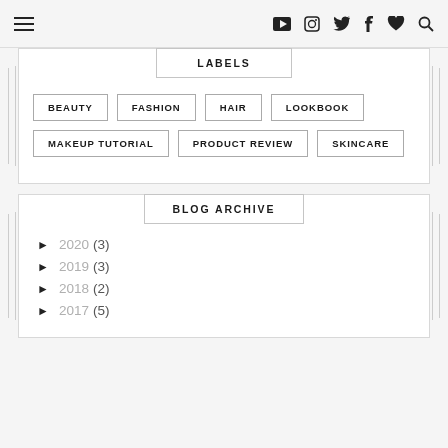≡  ▶  📷  🐦  f  ♥  🔍
LABELS
BEAUTY
FASHION
HAIR
LOOKBOOK
MAKEUP TUTORIAL
PRODUCT REVIEW
SKINCARE
BLOG ARCHIVE
► 2020 (3)
► 2019 (3)
► 2018 (2)
► 2017 (5)